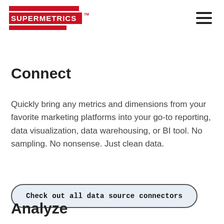[Figure (logo): Supermetrics logo with red horizontal bars and white text on red background, with TM mark]
Connect
Quickly bring any metrics and dimensions from your favorite marketing platforms into your go-to reporting, data visualization, data warehousing, or BI tool. No sampling. No nonsense. Just clean data.
Check out all data source connectors
Analyze